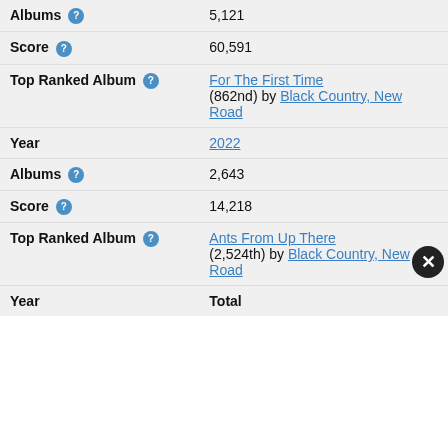| Field | Value |
| --- | --- |
| Albums | 5,121 |
| Score | 60,591 |
| Top Ranked Album | For The First Time (862nd) by Black Country, New Road |
| Year | 2022 |
| Albums | 2,643 |
| Score | 14,218 |
| Top Ranked Album | Ants From Up There (2,524th) by Black Country, New Road |
| Year | Total |